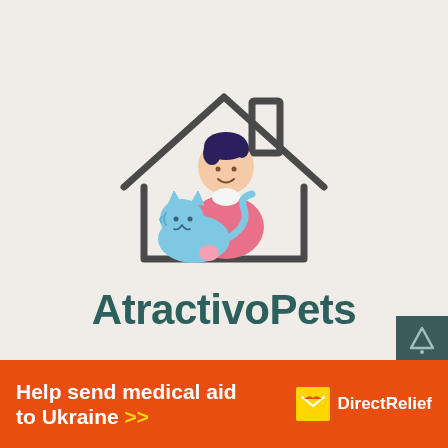[Figure (logo): AtractivoPets logo: outline of a house with chimney, inside which is a cartoon person with dark hair holding a blue cat. Below the house illustration is the brand name 'AtractivoPets' in bold teal/dark green sans-serif font.]
[Figure (illustration): DirectRelief banner ad: orange background with white bold text 'Help send medical aid to Ukraine >>' with yellow arrows, and Direct Relief logo (yellow box with white bird/envelope icon) followed by 'Direct Relief' in white.]